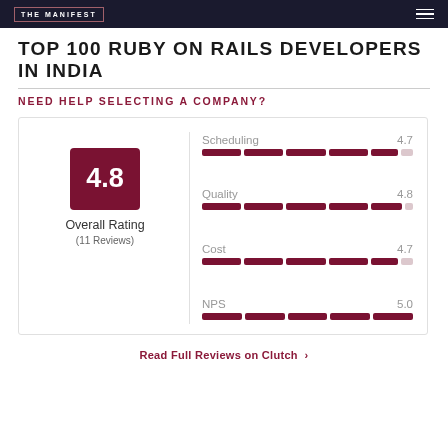THE MANIFEST
TOP 100 RUBY ON RAILS DEVELOPERS IN INDIA
NEED HELP SELECTING A COMPANY?
[Figure (infographic): Rating card showing Overall Rating 4.8 (11 Reviews) with sub-scores: Scheduling 4.7, Quality 4.8, Cost 4.7, NPS 5.0, each shown as a segmented bar chart]
Read Full Reviews on Clutch >